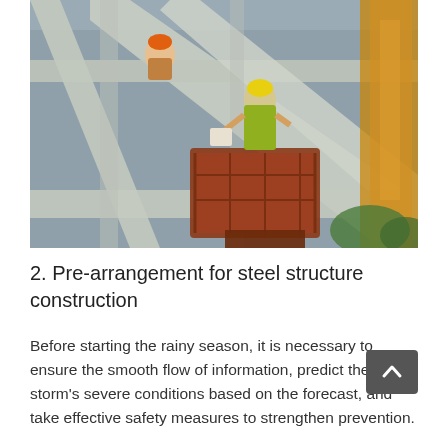[Figure (photo): Construction workers on a aerial lift platform working on a steel structure framework. Workers are wearing hard hats and safety vests. Large grey steel beams and trusses are visible, with a yellow crane in the background.]
2. Pre-arrangement for steel structure construction
Before starting the rainy season, it is necessary to ensure the smooth flow of information, predict the storm's severe conditions based on the forecast, and take effective safety measures to strengthen prevention.